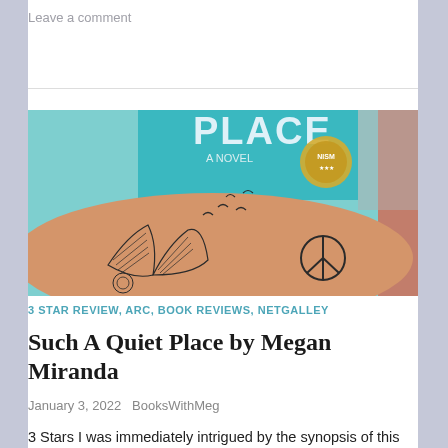Leave a comment
[Figure (photo): Person's arm with book and bird tattoos holding a teal/blue book with 'PLACE - A NOVEL' visible on the cover, with a circular badge on the cover.]
3 STAR REVIEW, ARC, BOOK REVIEWS, NETGALLEY
Such A Quiet Place by Megan Miranda
January 3, 2022   BooksWithMeg
3 Stars I was immediately intrigued by the synopsis of this book and the beginning did hook me in with its high